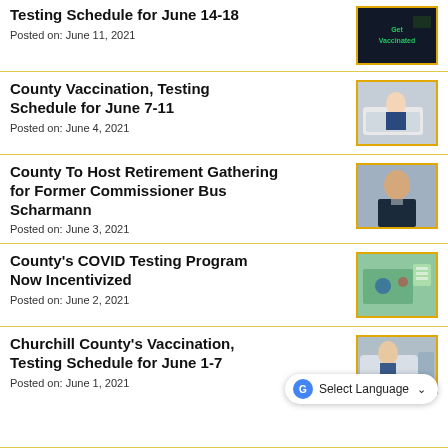Testing Schedule for June 14-18
Posted on: June 11, 2021
[Figure (photo): Dark background image with green text related to vaccination]
County Vaccination, Testing Schedule for June 7-11
Posted on: June 4, 2021
[Figure (photo): Person at car window during drive-through vaccination or testing]
County To Host Retirement Gathering for Former Commissioner Bus Scharmann
Posted on: June 3, 2021
[Figure (photo): Portrait of an older man in a suit]
County's COVID Testing Program Now Incentivized
Posted on: June 2, 2021
[Figure (photo): Medical equipment and supplies related to COVID testing]
Churchill County's Vaccination, Testing Schedule for June 1-7
Posted on: June 1, 2021
[Figure (photo): Person receiving a test or vaccine at a car window]
Select Language